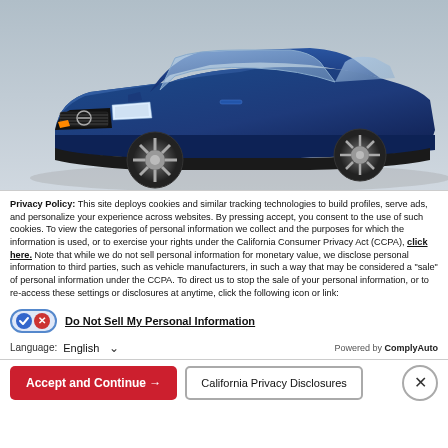[Figure (photo): Blue Nissan Rogue SUV, three-quarter front view on white/grey background]
Privacy Policy: This site deploys cookies and similar tracking technologies to build profiles, serve ads, and personalize your experience across websites. By pressing accept, you consent to the use of such cookies. To view the categories of personal information we collect and the purposes for which the information is used, or to exercise your rights under the California Consumer Privacy Act (CCPA), click here. Note that while we do not sell personal information for monetary value, we disclose personal information to third parties, such as vehicle manufacturers, in such a way that may be considered a "sale" of personal information under the CCPA. To direct us to stop the sale of your personal information, or to re-access these settings or disclosures at anytime, click the following icon or link:
Do Not Sell My Personal Information
Language:  English
Powered by ComplyAuto
Accept and Continue →
California Privacy Disclosures